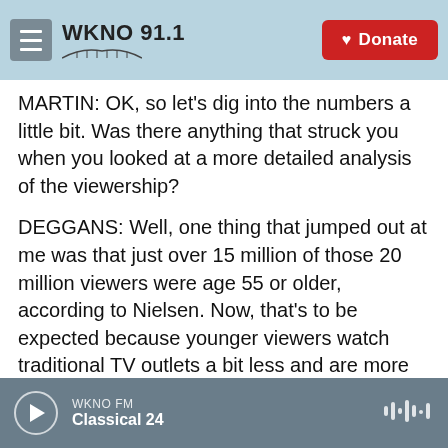WKNO 91.1
MARTIN: OK, so let's dig into the numbers a little bit. Was there anything that struck you when you looked at a more detailed analysis of the viewership?
DEGGANS: Well, one thing that jumped out at me was that just over 15 million of those 20 million viewers were age 55 or older, according to Nielsen. Now, that's to be expected because younger viewers watch traditional TV outlets a bit less and are more likely to consume this information online, maybe through clips on YouTube, TikTok or Twitter. And it was interesting that MSNBC, which features
WKNO FM Classical 24